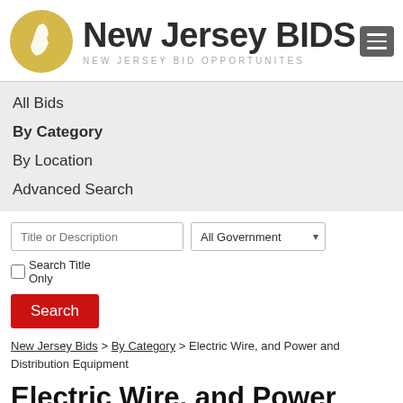[Figure (logo): New Jersey BIDS logo with NJ state silhouette in gold circle and text 'New Jersey BIDS / NEW JERSEY BID OPPORTUNITES']
All Bids
By Category
By Location
Advanced Search
Title or Description | All Government ▾ | Search Title Only | Search
New Jersey Bids > By Category > Electric Wire, and Power and Distribution Equipment
Electric Wire, and Power and Distribution Equipment Bids &